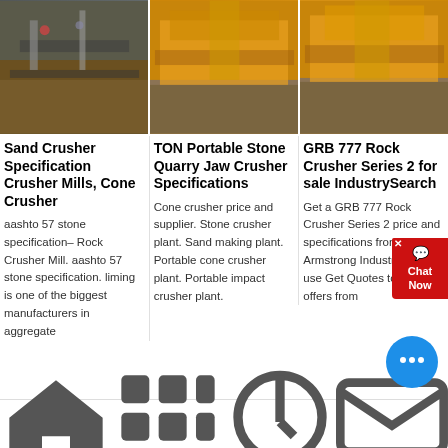[Figure (photo): Photo of a sand crushing/mining operation with workers and machinery indoors, dark industrial setting]
[Figure (photo): Photo of yellow TON portable stone quarry jaw crusher equipment on a gravel site outdoors]
[Figure (photo): Photo of yellow GRB 777 rock crusher series equipment on a gravel site outdoors]
Sand Crusher Specification Crusher Mills, Cone Crusher
TON Portable Stone Quarry Jaw Crusher Specifications
GRB 777 Rock Crusher Series 2 for sale IndustrySearch
aashto 57 stone specification– Rock Crusher Mill. aashto 57 stone specification. liming is one of the biggest manufacturers in aggregate
Cone crusher price and supplier. Stone crusher plant. Sand making plant. Portable cone crusher plant. Portable impact crusher plant.
Get a GRB 777 Rock Crusher Series 2 price and specifications from Armstrong Industries. Also use Get Quotes to request offers from
Home   Product   Cases   Contact